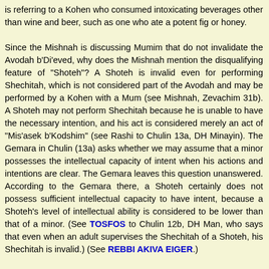is referring to a Kohen who consumed intoxicating beverages other than wine and beer, such as one who ate a potent fig or honey.

Since the Mishnah is discussing Mumim that do not invalidate the Avodah b'Di'eved, why does the Mishnah mention the disqualifying feature of "Shoteh"? A Shoteh is invalid even for performing Shechitah, which is not considered part of the Avodah and may be performed by a Kohen with a Mum (see Mishnah, Zevachim 31b). A Shoteh may not perform Shechitah because he is unable to have the necessary intention, and his act is considered merely an act of "Mis'asek b'Kodshim" (see Rashi to Chulin 13a, DH Minayin). The Gemara in Chulin (13a) asks whether we may assume that a minor possesses the intellectual capacity of intent when his actions and intentions are clear. The Gemara leaves this question unanswered. According to the Gemara there, a Shoteh certainly does not possess sufficient intellectual capacity to have intent, because a Shoteh's level of intellectual ability is considered to be lower than that of a minor. (See TOSFOS to Chulin 12b, DH Man, who says that even when an adult supervises the Shechitah of a Shoteh, his Shechitah is invalid.) (See REBBI AKIVA EIGER.)